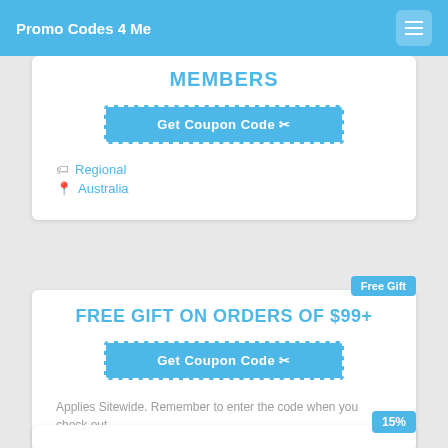Promo Codes 4 Me
MEMBERS
Get Coupon Code ✂
Regional
Australia
Free Gift
FREE GIFT ON ORDERS OF $99+
Get Coupon Code ✂
Applies Sitewide. Remember to enter the code when you check out.
Regional
Australia
15%